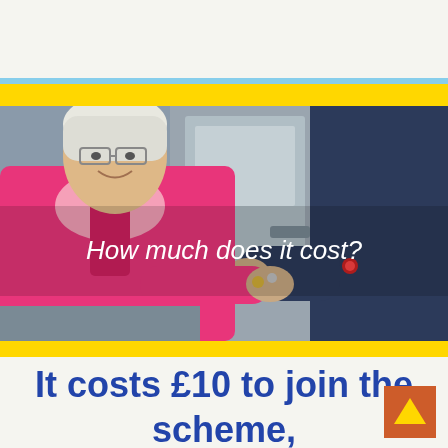[Figure (photo): Photograph of an elderly woman in a pink jacket receiving or exchanging coins/keys with a person in a dark navy hoodie, next to a vehicle door. White italic text overlay reads 'How much does it cost?']
It costs £10 to join the scheme,